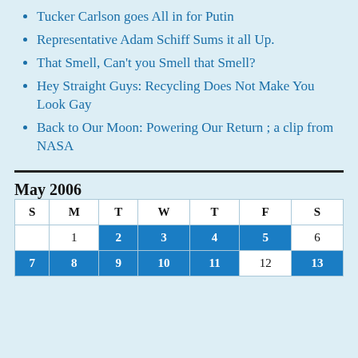Tucker Carlson goes All in for Putin
Representative Adam Schiff Sums it all Up.
That Smell, Can't you Smell that Smell?
Hey Straight Guys: Recycling Does Not Make You Look Gay
Back to Our Moon: Powering Our Return ; a clip from NASA
May 2006
| S | M | T | W | T | F | S |
| --- | --- | --- | --- | --- | --- | --- |
|  | 1 | 2 | 3 | 4 | 5 | 6 |
| 7 | 8 | 9 | 10 | 11 | 12 | 13 |